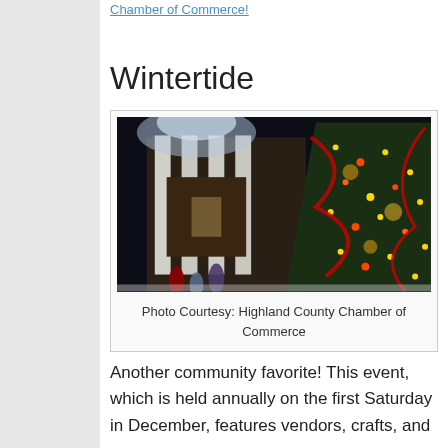Chamber of Commerce!
Wintertide
[Figure (photo): Nighttime photo of a decorated Christmas tree with lights and red ribbons in front of a building with white columns. Photo Courtesy: Highland County Chamber of Commerce]
Photo Courtesy: Highland County Chamber of Commerce
Another community favorite! This event, which is held annually on the first Saturday in December, features vendors, crafts, and